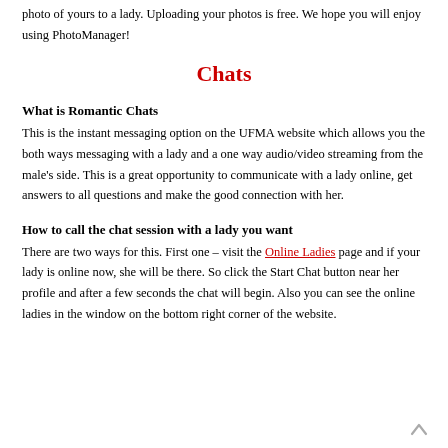photo of yours to a lady. Uploading your photos is free. We hope you will enjoy using PhotoManager!
Chats
What is Romantic Chats
This is the instant messaging option on the UFMA website which allows you the both ways messaging with a lady and a one way audio/video streaming from the male's side. This is a great opportunity to communicate with a lady online, get answers to all questions and make the good connection with her.
How to call the chat session with a lady you want
There are two ways for this. First one – visit the Online Ladies page and if your lady is online now, she will be there. So click the Start Chat button near her profile and after a few seconds the chat will begin. Also you can see the online ladies in the window on the bottom right corner of the website.